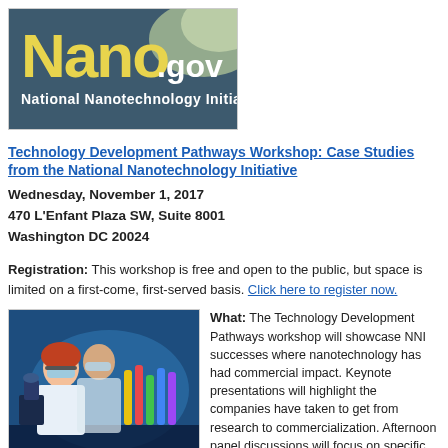[Figure (logo): Nano.gov National Nanotechnology Initiative logo on dark teal/grey background with yellow Nano text and white .gov and tagline text]
Technology Development Pathways Workshop: Case Studies from the National Nanotechnology Initiative
Wednesday, November 1, 2017
470 L'Enfant Plaza SW, Suite 8001
Washington DC 20024
Registration: This workshop is free and open to the public, but space is limited on a first-come, first-served basis. Click here to register now.
[Figure (photo): Two scientists in lab coats and safety glasses examining colorful laboratory glassware]
What: The Technology Development Pathways workshop will showcase NNI s successes in areas where nanotechnology has had commercial impact. Keynote presentations will highlight the pathways companies have taken to get from research to commercialization. Afternoon panel discussions will focus on specific steps of the commercialization pathway, such as scale up and...